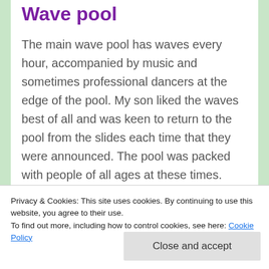Wave pool
The main wave pool has waves every hour, accompanied by music and sometimes professional dancers at the edge of the pool. My son liked the waves best of all and was keen to return to the pool from the slides each time that they were announced. The pool was packed with people of all ages at these times.
Lunch
especially as we were the only people there,
Privacy & Cookies: This site uses cookies. By continuing to use this website, you agree to their use.
To find out more, including how to control cookies, see here: Cookie Policy
Close and accept